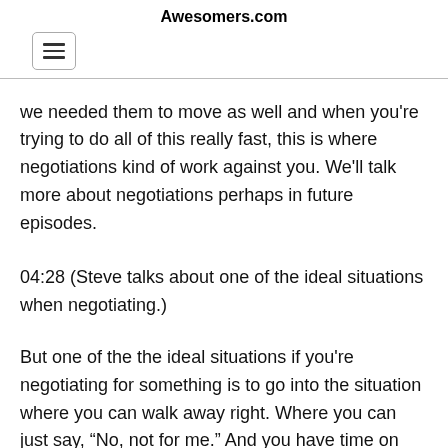Awesomers.com
we needed them to move as well and when you're trying to do all of this really fast, this is where negotiations kind of work against you. We'll talk more about negotiations perhaps in future episodes.
04:28 (Steve talks about one of the ideal situations when negotiating.)
But one of the the ideal situations if you're negotiating for something is to go into the situation where you can walk away right. Where you can just say, “No, not for me.” And you have time on your side. In this case, time was working against us. We did not have time on our side and we